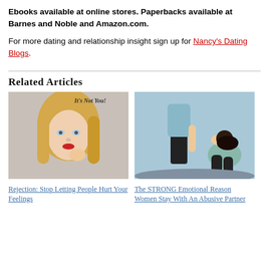Ebooks available at online stores. Paperbacks available at Barnes and Noble and Amazon.com.
For more dating and relationship insight sign up for Nancy's Dating Blogs.
Related Articles
[Figure (photo): Blonde woman looking worried with text overlay 'It's Not You!']
Rejection: Stop Letting People Hurt Your Feelings
[Figure (photo): Woman sitting on ground with head in hands, man standing nearby, depicting abusive relationship]
The STRONG Emotional Reason Women Stay With An Abusive Partner